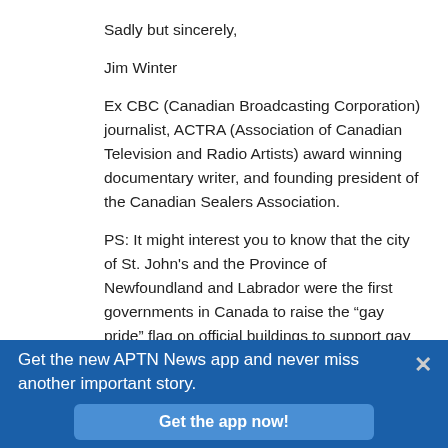Sadly but sincerely,
Jim Winter
Ex CBC (Canadian Broadcasting Corporation) journalist, ACTRA (Association of Canadian Television and Radio Artists) award winning documentary writer, and founding president of the Canadian Sealers Association.
PS: It might interest you to know that the city of St. John’s and the Province of Newfoundland and Labrador were the first governments in Canada to raise the “gay pride” flag on official buildings to support gay athletes at the Sochi games in light of the anti gay legislation put in place by the Russian
Get the new APTN News app and never miss another important story.
Get the app now!